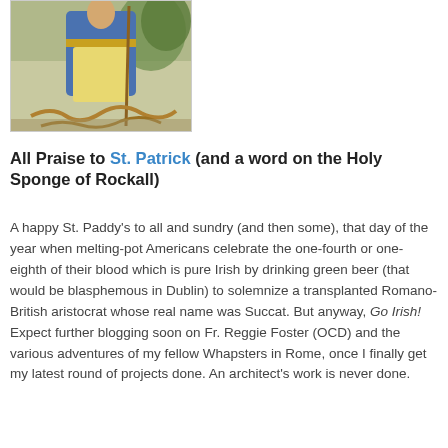[Figure (illustration): Painting of a robed figure (St. Patrick) standing with a staff, wearing blue and gold robes over a yellow garment, with snakes at his feet and a rocky/leafy background.]
All Praise to St. Patrick (and a word on the Holy Sponge of Rockall)
A happy St. Paddy's to all and sundry (and then some), that day of the year when melting-pot Americans celebrate the one-fourth or one-eighth of their blood which is pure Irish by drinking green beer (that would be blasphemous in Dublin) to solemnize a transplanted Romano-British aristocrat whose real name was Succat. But anyway, Go Irish! Expect further blogging soon on Fr. Reggie Foster (OCD) and the various adventures of my fellow Whapsters in Rome, once I finally get my latest round of projects done. An architect's work is never done.